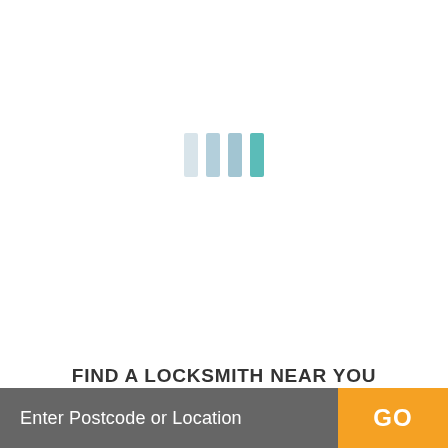[Figure (infographic): Loading spinner with four vertical bars of varying opacity: three light blue/gray bars and one teal/green bar on the right, indicating a loading state.]
FIND A LOCKSMITH NEAR YOU
Enter Postcode or Location
GO